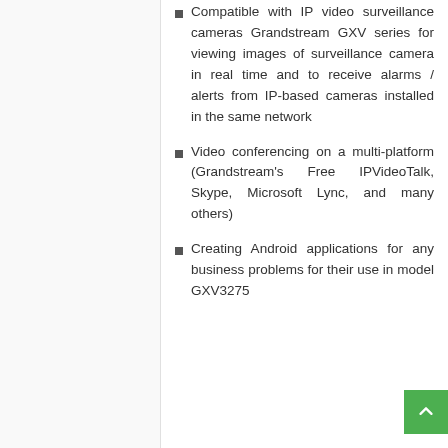Compatible with IP video surveillance cameras Grandstream GXV series for viewing images of surveillance camera in real time and to receive alarms / alerts from IP-based cameras installed in the same network
Video conferencing on a multi-platform (Grandstream's Free IPVideoTalk, Skype, Microsoft Lync, and many others)
Creating Android applications for any business problems for their use in model GXV3275